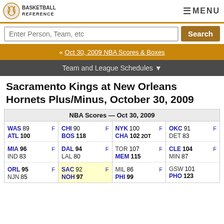Basketball Reference — MENU
« Oct 30, 2009 NBA Scores & Boxes
Team and League Schedules ▼
Sacramento Kings at New Orleans Hornets Plus/Minus, October 30, 2009
| NBA Scores — Oct 30, 2009 |
| --- |
| WAS 89 F | CHI 90 F | NYK 100 F | OKC 91 F |
| ATL 100 | BOS 118 | CHA 102 2OT | DET 83 |
| MIA 96 F | DAL 94 F | TOR 107 F | CLE 104 F |
| IND 83 | LAL 80 | MEM 115 | MIN 87 |
| ORL 95 F | SAC 92 F | MIL 86 F | GSW 101 |
| NJN 85 | NOH 97 | PHI 99 | PHO 123 |